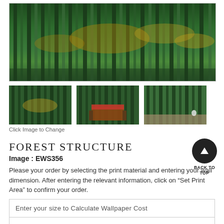[Figure (photo): Main large photo of a dense forest with tall thin tree trunks and autumn leaves, greenish tones]
[Figure (photo): Three thumbnail images of the forest wallpaper: forest close-up, bedroom with red bed and forest wallpaper, forest wallpaper in living space]
Click Image to Change
FOREST STRUCTURE
Image : EWS356
Please your order by selecting the print material and entering your wall dimension. After entering the relevant information, click on “Set Print Area” to confirm your order.
Enter your size to Calculate Wallpaper Cost
Print Material :